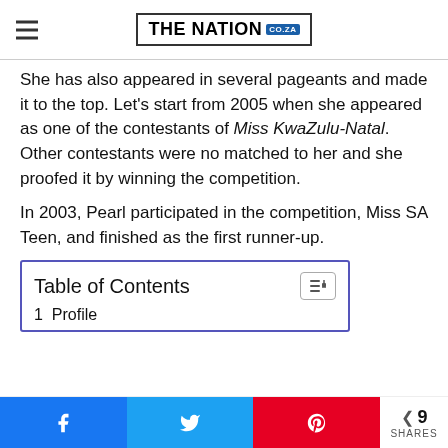THE NATION co.za
She has also appeared in several pageants and made it to the top. Let’s start from 2005 when she appeared as one of the contestants of Miss KwaZulu-Natal. Other contestants were no matched to her and she proofed it by winning the competition.
In 2003, Pearl participated in the competition, Miss SA Teen, and finished as the first runner-up.
Table of Contents
1  Profile